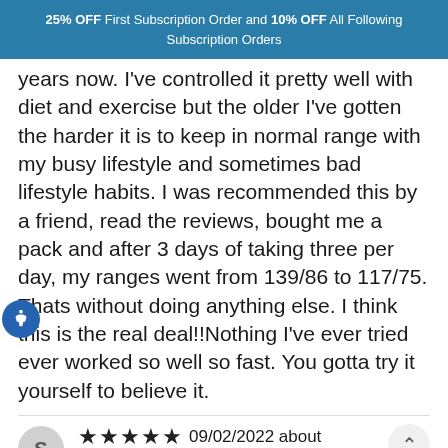25% OFF First Subscription Order and 10% OFF All Following Subscription Orders
years now. I've controlled it pretty well with diet and exercise but the older I've gotten the harder it is to keep in normal range with my busy lifestyle and sometimes bad lifestyle habits. I was recommended this by a friend, read the reviews, bought me a pack and after 3 days of taking three per day, my ranges went from 139/86 to 117/75. Thats without doing anything else. I think this is the real deal!!Nothing I've ever tried ever worked so well so fast. You gotta try it yourself to believe it.
★★★★★ 09/02/2022 about Beet Root Gummies, 60ct
Shania Gates